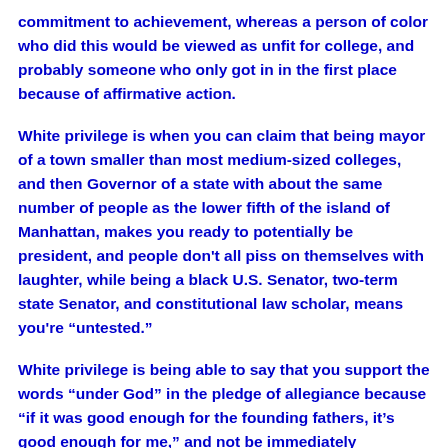commitment to achievement, whereas a person of color who did this would be viewed as unfit for college, and probably someone who only got in in the first place because of affirmative action.
White privilege is when you can claim that being mayor of a town smaller than most medium-sized colleges, and then Governor of a state with about the same number of people as the lower fifth of the island of Manhattan, makes you ready to potentially be president, and people don't all piss on themselves with laughter, while being a black U.S. Senator, two-term state Senator, and constitutional law scholar, means you're “untested.”
White privilege is being able to say that you support the words “under God” in the pledge of allegiance because “if it was good enough for the founding fathers, it’s good enough for me,” and not be immediately disqualified from holding office–since, after all, the